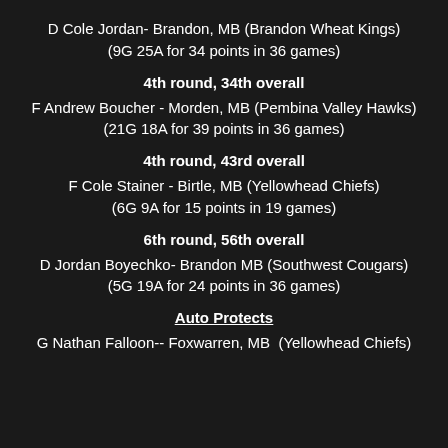D Cole Jordan- Brandon, MB (Brandon Wheat Kings)
(9G 25A for 34 points in 36 games)
4th round, 34th overall
F Andrew Boucher - Morden, MB (Pembina Valley Hawks)
(21G 18A for 39 points in 36 games)
4th round, 43rd overall
F Cole Stainer - Birtle, MB (Yellowhead Chiefs)
(6G 9A for 15 points in 19 games)
6th round, 56th overall
D Jordan Boyechko- Brandon MB (Southwest Cougars)
(5G 19A for 24 points in 36 games)
Auto Protects
G Nathan Falloon-- Foxwarren, MB  (Yellowhead Chiefs)